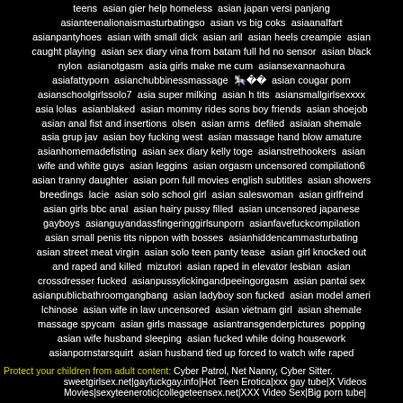teens  asian gier help homeless  asian japan versi panjang asianteenalionaismasturbatingso  asian vs big coks  asiaanalfart asianpantyhoes  asian with small dick  asian aril  asian heels creampie  asian caught playing  asian sex diary vina from batam full hd no sensor  asian black nylon  asianotgasm  asia girls make me cum  asiansexannaohura asiafattyporn  asianchubbinessmassage  ���  asian cougar porn asianschoolgirlssolo7  asia super milking  asian h tits  asiansmallgirlsexxxx asia lolas  asianblaked  asian mommy rides sons boy friends  asian shoejob asian anal fist and insertions  olsen  asian arms  defiled  asiaian shemale asia grup jav  asian boy fucking west  asian massage hand blow amature asianhomemadefisting  asian sex diary kelly toge  asianstrethookers  asian wife and white guys  asian leggins  asian orgasm uncensored compilation6 asian tranny daughter  asian porn full movies english subtitles  asian showers breedings  lacie  asian solo school girl  asian saleswoman  asian girlfreind asian girls bbc anal  asian hairy pussy filled  asian uncensored japanese gayboys  asianguyandassfineringgirlsunporn  asianfavefuckcompilation asian small penis tits nippon with bosses  asianhiddencammasturbating asian street meat virgin  asian solo teen panty tease  asian girl knocked out and raped and killed  mizutori  asian raped in elevator lesbian  asian crossdresser fucked  asianpussylickingandpeeingorgasm  asian pantai sex asianpublicbathroomgangbang  asian ladyboy son fucked  asian model ameri lchinose  asian wife in law uncensored  asian vietnam girl  asian shemale massage spycam  asian girls massage  asiantransgenderpictures  popping asian wife husband sleeping  asian fucked while doing housework asianpornstarsquirt  asian husband tied up forced to watch wife raped
Protect your children from adult content: Cyber Patrol, Net Nanny, Cyber Sitter. sweetgirlsex.net|gayfuckgay.info|Hot Teen Erotica|xxx gay tube|X Videos Movies|sexyteenerotic|collegeteensex.net|XXX Video Sex|Big porn tube|
2018 orientalhardcore.com.